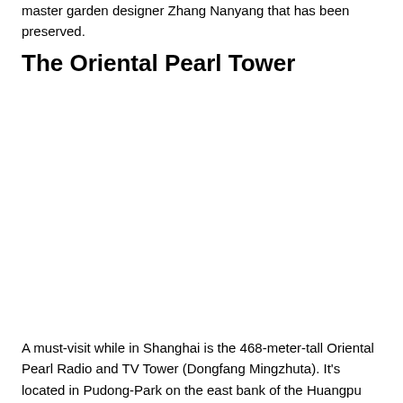master garden designer Zhang Nanyang that has been preserved.
The Oriental Pearl Tower
[Figure (photo): Blank/white space where an image of the Oriental Pearl Tower would appear]
A must-visit while in Shanghai is the 468-meter-tall Oriental Pearl Radio and TV Tower (Dongfang Mingzhuta). It's located in Pudong-Park on the east bank of the Huangpu River. In addition to its